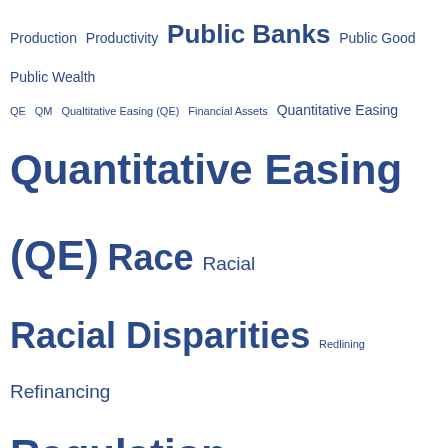[Figure (infographic): Tag cloud of finance-related terms in varying font sizes, rendered in blue. Terms include Production, Productivity, Public Banks, Public Good, Public Wealth, QE, QM, Qualitative Easing (QE), Financial Assets, Quantitative Easing, Quantitative Easing (QE), Race, Racial, Racial Disparities, Redlining, Refinancing, Regulation, Regulatory Perimeter, Regulatory Policy, Regulatory Relief, Regulatory Review, Rent-Seeking, Repos, Representative Agen, Resolution-Planning, Retirement Rule, Rules, Savers, Savings, Savings Accounts, Securities, Senate Banking, Shadow Banking, Shadow Banks, Short-Term Lending, SIFIs, SIPC, Small Business, Small Businesses, Small Business Loans, Small Means, Social-Impact Finance, Social-Wealth Fund, Social Security, Solvency, Sovereign Money, Stimulus, Stock Prices, Stocks, Stress Test, Stress Tests, Student Debt, Student Loans, Subprime, Subprime Lending (partially visible)]